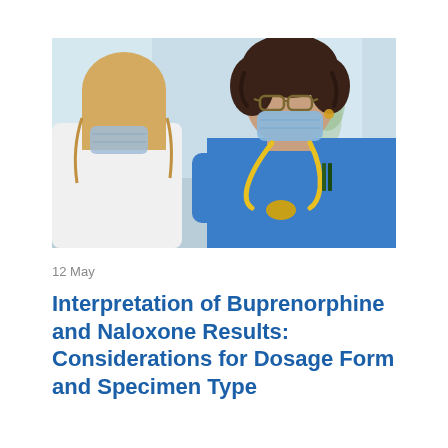[Figure (photo): A healthcare worker in blue scrubs and a yellow stethoscope wearing a blue surgical mask looks at a patient (seen from behind, wearing a white shirt and blue surgical mask) in a clinical setting.]
12 May
Interpretation of Buprenorphine and Naloxone Results: Considerations for Dosage Form and Specimen Type